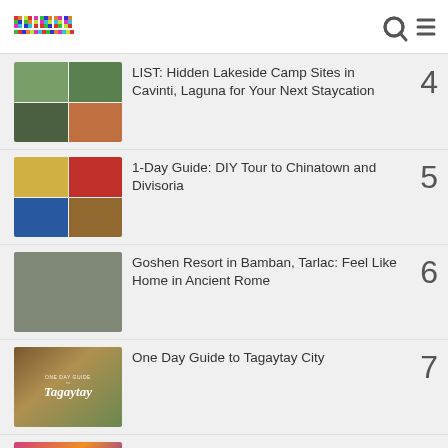primer
LIST: Hidden Lakeside Camp Sites in Cavinti, Laguna for Your Next Staycation
1-Day Guide: DIY Tour to Chinatown and Divisoria
Goshen Resort in Bamban, Tarlac: Feel Like Home in Ancient Rome
One Day Guide to Tagaytay City
GOOTOPIA Slimes